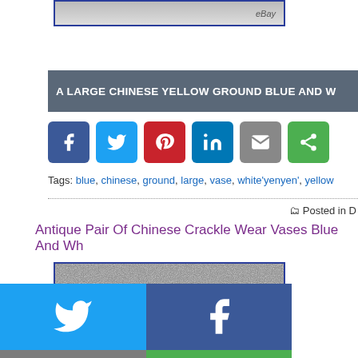[Figure (photo): Top cropped photo of Chinese vase on eBay listing]
A LARGE CHINESE YELLOW GROUND BLUE AND W...
[Figure (infographic): Social share buttons: Facebook, Twitter, Pinterest, LinkedIn, Email, Share]
Tags: blue, chinese, ground, large, vase, white'yenyen', yellow
Posted in D...
Antique Pair Of Chinese Crackle Wear Vases Blue And Wh...
[Figure (photo): Photo showing tops of two blue and white Chinese crackle vases with noisy/static upper portion]
[Figure (infographic): Share overlay grid: Twitter (blue), Facebook (dark blue), Email (grey), WhatsApp (green), SMS (cyan), Share (green)]